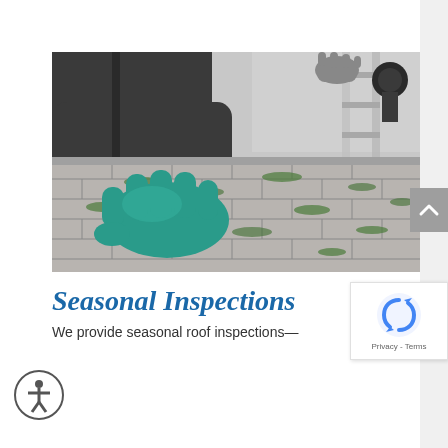[Figure (photo): A person wearing a dark jacket and teal/green rubber glove is inspecting a roof with asphalt shingles that have green moss/algae growth. Another gloved hand holds a ladder in the upper right. The image shows close-up view of roof shingles being examined.]
Seasonal Inspections
We provide seasonal roof inspections—